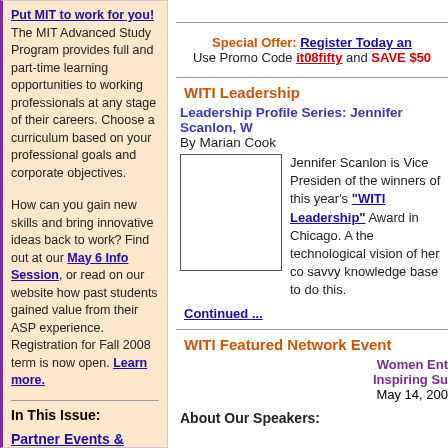Put MIT to work for you! The MIT Advanced Study Program provides full and part-time learning opportunities to working professionals at any stage of their careers. Choose a curriculum based on your professional goals and corporate objectives.
How can you gain new skills and bring innovative ideas back to work? Find out at our May 6 Info Session, or read on our website how past students gained value from their ASP experience. Registration for Fall 2008 term is now open. Learn more.
In This Issue:
Partner Events & Announcements
Join WITI Today!
Women on the Move
Network Meetings
Special Offer: Register Today an Use Promo Code it08fifty and SAVE $50
WITI Leadership
Leadership Profile Series: Jennifer Scanlon, W By Marian Cook
Jennifer Scanlon is Vice Presiden of the winners of this year's "WITI Leadership" Award in Chicago. A the technological vision of her co savvy knowledge base to do this.
Continued ...
WITI Featured Network Event
Women Ent Inspiring Su May 14, 200
About Our Speakers: